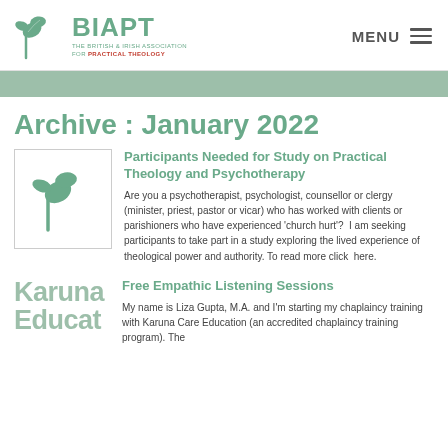[Figure (logo): BIAPT logo with tree/leaf icon and text 'THE BRITISH & IRISH ASSOCIATION FOR PRACTICAL THEOLOGY']
MENU
Archive : January 2022
[Figure (logo): BIAPT small tree/leaf icon in a bordered thumbnail box]
Participants Needed for Study on Practical Theology and Psychotherapy
Are you a psychotherapist, psychologist, counsellor or clergy (minister, priest, pastor or vicar) who has worked with clients or parishioners who have experienced 'church hurt'?  I am seeking participants to take part in a study exploring the lived experience of theological power and authority. To read more click  here.
[Figure (logo): Karuna Education logo text in green]
Free Empathic Listening Sessions
My name is Liza Gupta, M.A. and I'm starting my chaplaincy training with Karuna Care Education (an accredited chaplaincy training program). The